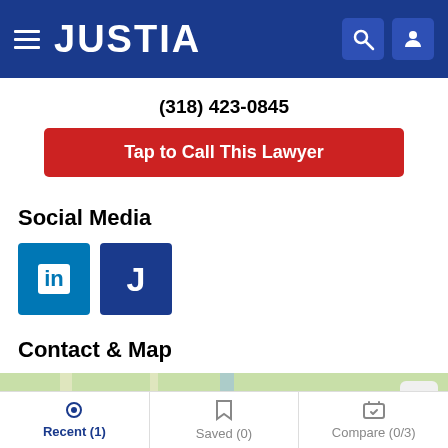JUSTIA
(318) 423-0845
Tap to Call This Lawyer
Social Media
[Figure (logo): LinkedIn and Justia social media icons]
Contact & Map
[Figure (map): Partial map view with expand button]
Recent (1)  Saved (0)  Compare (0/3)